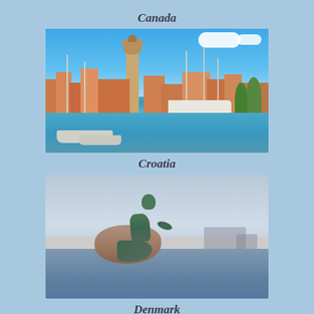Canada
[Figure (photo): Croatian harbor town with sailboats and yachts in the foreground, colorful buildings with terracotta roofs and a bell tower in the background, blue sky with white clouds]
Croatia
[Figure (photo): The Little Mermaid statue sitting on a rock by the water in Copenhagen, Denmark, with a hazy skyline in the background]
Denmark